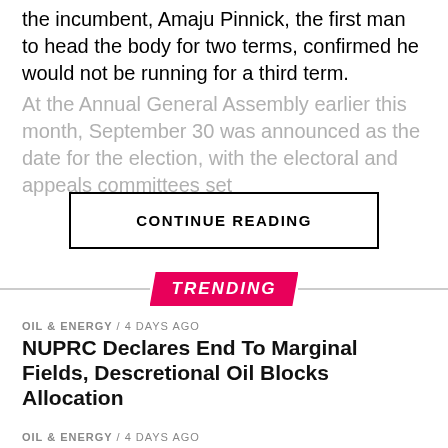the incumbent, Amaju Pinnick, the first man to head the body for two terms, confirmed he would not be running for a third term.
At the Annual General Assembly earlier this month, September 30 was announced as the date for the election, with the electoral and appeals committees set
CONTINUE READING
TRENDING
OIL & ENERGY / 4 days ago
NUPRC Declares End To Marginal Fields, Descretional Oil Blocks Allocation
OIL & ENERGY / 4 days ago
TNP Not Operational Since June - SPDC
EDITORIAL / 4 days ago